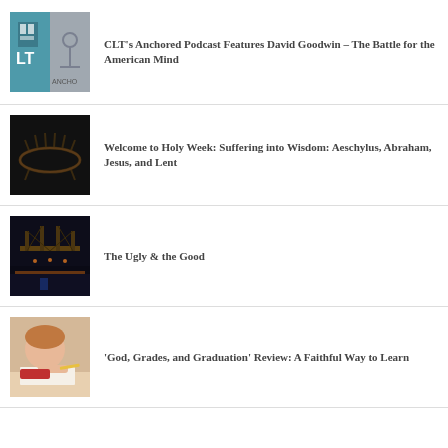CLT’s Anchored Podcast Features David Goodwin – The Battle for the American Mind
Welcome to Holy Week: Suffering into Wisdom: Aeschylus, Abraham, Jesus, and Lent
The Ugly & the Good
‘God, Grades, and Graduation’ Review: A Faithful Way to Learn